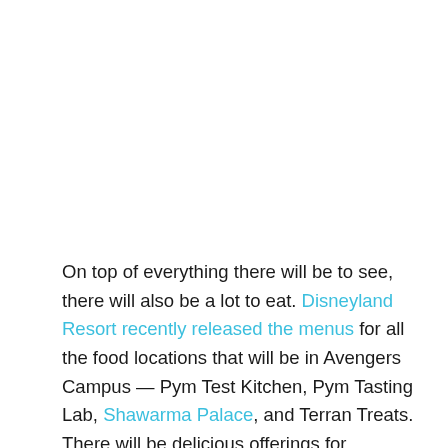On top of everything there will be to see, there will also be a lot to eat. Disneyland Resort recently released the menus for all the food locations that will be in Avengers Campus — Pym Test Kitchen, Pym Tasting Lab, Shawarma Palace, and Terran Treats. There will be delicious offerings for carnivores, vegetarians, adults, and kids. But there is one sandwich that will top them all.